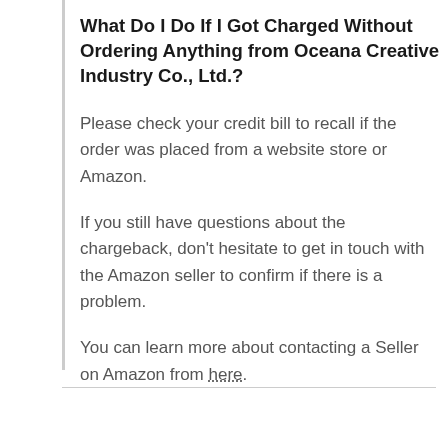What Do I Do If I Got Charged Without Ordering Anything from Oceana Creative Industry Co., Ltd.?
Please check your credit bill to recall if the order was placed from a website store or Amazon.
If you still have questions about the chargeback, don't hesitate to get in touch with the Amazon seller to confirm if there is a problem.
You can learn more about contacting a Seller on Amazon from here.